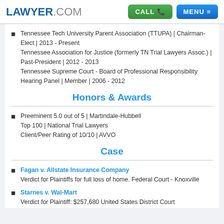LAWYER.COM | CALL | MENU
Tennessee Tech University Parent Association (TTUPA) | Chairman-Elect | 2013 - Present
Tennessee Association for Justice (formerly TN Trial Lawyers Assoc.) | Past-President | 2012 - 2013
Tennessee Supreme Court - Board of Professional Responsibility Hearing Panel | Member | 2006 - 2012
Honors & Awards
Preeminent 5.0 out of 5 | Martindale-Hubbell
Top 100 | National Trial Lawyers
Client/Peer Rating of 10/10 | AVVO
Case
Fagan v. Allstate Insurance Company
Verdict for Plaintiffs for full loss of home. Federal Court - Knoxville
Starnes v. Wal-Mart
Verdict for Plaintiff: $257,680 United States District Court